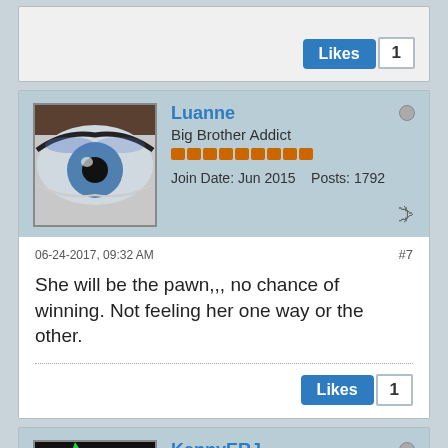[Figure (other): Partial post block showing Likes button with count 1]
[Figure (other): Forum user profile header for Luanne, Big Brother Addict, Join Date Jun 2015, Posts 1792]
06-24-2017, 09:32 AM
#7
She will be the pawn,,, no chance of winning. Not feeling her one way or the other.
[Figure (other): Likes button with count 1]
[Figure (other): Forum user profile header for KennyERJ, Moderator, Join Date Jun 2015, Posts 20857]